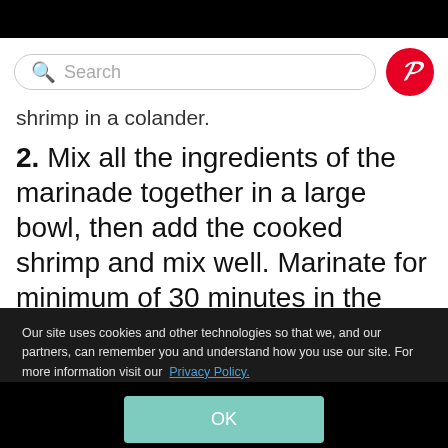[Figure (screenshot): Search bar with green magnifying glass icon and text 'Search', alongside a red Pinterest button with white 'p' logo]
shrimp in a colander.
2. Mix all the ingredients of the marinade together in a large bowl, then add the cooked shrimp and mix well. Marinate for minimum of 30 minutes in the refrigerator
Our site uses cookies and other technologies so that we, and our partners, can remember you and understand how you use our site. For more information visit our Privacy Policy.
OK